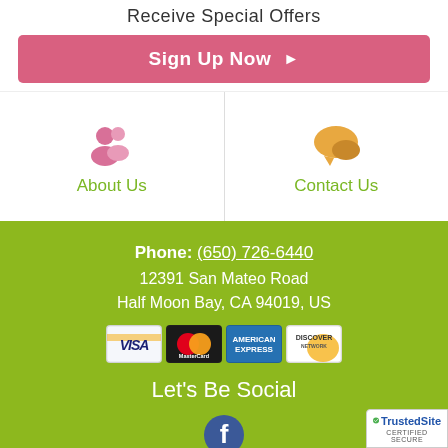Receive Special Offers
Sign Up Now ▶
[Figure (illustration): Two icons side by side: a pink person/group icon labeled 'About Us' on the left, and an orange speech bubble icon labeled 'Contact Us' on the right, separated by a vertical divider.]
Phone: (650) 726-6440
12391 San Mateo Road
Half Moon Bay, CA 94019, US
[Figure (illustration): Four payment card logos in a row: Visa, MasterCard, American Express, Discover]
Let's Be Social
[Figure (illustration): Facebook icon circle]
[Figure (illustration): TrustedSite Certified Secure badge in bottom right corner]